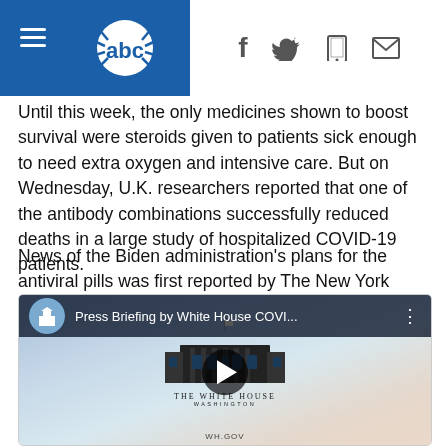ABC News header with logo and social icons
Until this week, the only medicines shown to boost survival were steroids given to patients sick enough to need extra oxygen and intensive care. But on Wednesday, U.K. researchers reported that one of the antibody combinations successfully reduced deaths in a large study of hospitalized COVID-19 patients.
News of the Biden administration's plans for the antiviral pills was first reported by The New York Times.
[Figure (screenshot): Embedded YouTube video thumbnail showing White House COVID Press Briefing with White House logo and play button]